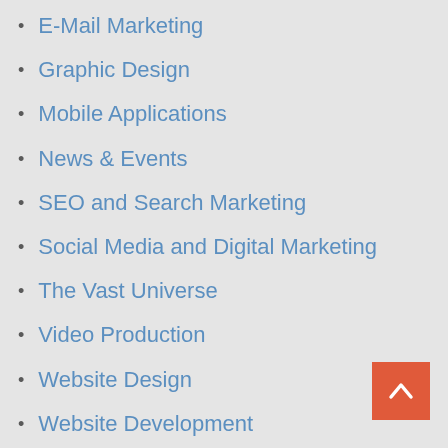E-Mail Marketing
Graphic Design
Mobile Applications
News & Events
SEO and Search Marketing
Social Media and Digital Marketing
The Vast Universe
Video Production
Website Design
Website Development